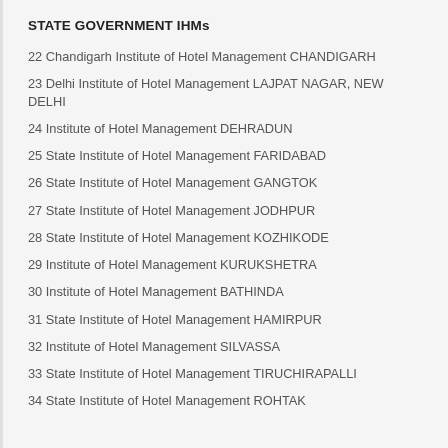STATE GOVERNMENT IHMs
22 Chandigarh Institute of Hotel Management CHANDIGARH
23 Delhi Institute of Hotel Management LAJPAT NAGAR, NEW DELHI
24 Institute of Hotel Management DEHRADUN
25 State Institute of Hotel Management FARIDABAD
26 State Institute of Hotel Management GANGTOK
27 State Institute of Hotel Management JODHPUR
28 State Institute of Hotel Management KOZHIKODE
29 Institute of Hotel Management KURUKSHETRA
30 Institute of Hotel Management BATHINDA
31 State Institute of Hotel Management HAMIRPUR
32 Institute of Hotel Management SILVASSA
33 State Institute of Hotel Management TIRUCHIRAPALLI
34 State Institute of Hotel Management ROHTAK